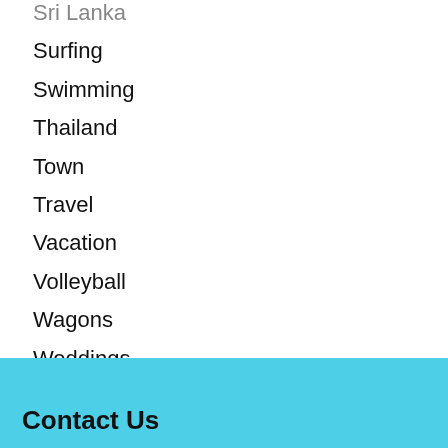Sri Lanka
Surfing
Swimming
Thailand
Town
Travel
Vacation
Volleyball
Wagons
Weddings
Contact Us